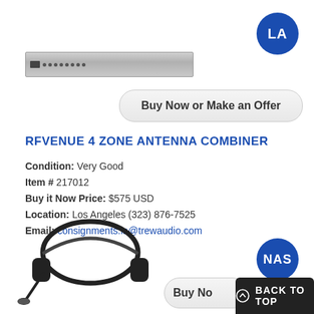[Figure (other): Blue circular badge with white text 'LA']
[Figure (photo): RFVenue 4 Zone Antenna Combiner device, rack-mounted unit, silver/grey color]
[Figure (other): Button: Buy Now or Make an Offer]
RFVENUE 4 ZONE ANTENNA COMBINER
Condition: Very Good
Item # 217012
Buy it Now Price: $575 USD
Location: Los Angeles (323) 876-7525
Email: consignments.la@trewaudio.com
[Figure (other): Blue circular badge with white text 'NAS']
[Figure (photo): Black headphones with boom microphone]
[Figure (other): Partially visible Buy Now button and BACK TO TOP bar]